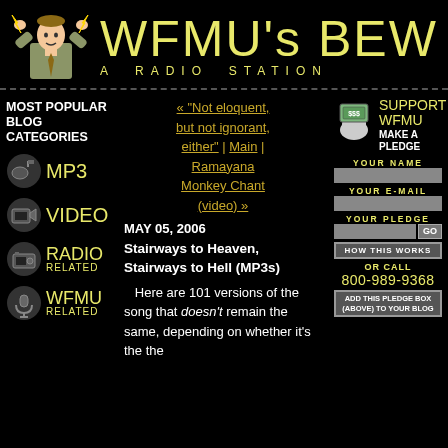WFMU's BEW — A RADIO STATION
MOST POPULAR BLOG CATEGORIES
MP3
VIDEO
RADIO RELATED
WFMU RELATED
« "Not eloquent, but not ignorant, either" | Main | Ramayana Monkey Chant (video) »
MAY 05, 2006
Stairways to Heaven, Stairways to Hell (MP3s)
Here are 101 versions of the song that doesn't remain the same, depending on whether it's the the
SUPPORT WFMU MAKE A PLEDGE
YOUR NAME
YOUR E-MAIL
YOUR PLEDGE
HOW THIS WORKS
OR CALL
800-989-9368
ADD THIS PLEDGE BOX (ABOVE) TO YOUR BLOG